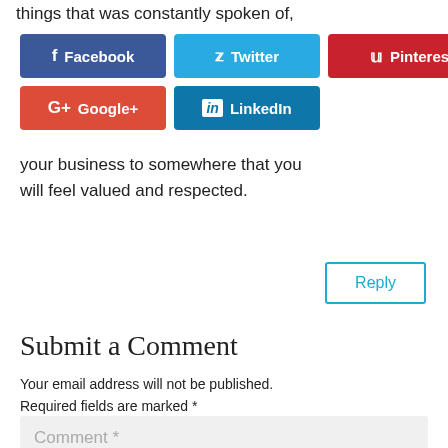things that was constantly spoken of,
[Figure (infographic): Social share buttons: Facebook (blue), Twitter (cyan), Pinterest (red), Google+ (red-orange), LinkedIn (blue)]
your business to somewhere that you will feel valued and respected.
Reply
Submit a Comment
Your email address will not be published. Required fields are marked *
Comment *